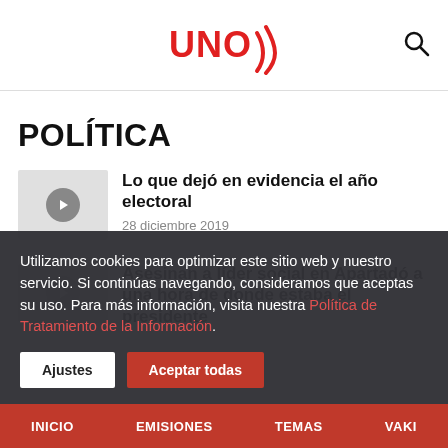UNO)) [logo] [search icon]
POLÍTICA
Lo que dejó en evidencia el año electoral
28 diciembre 2019
Asesinan a líder social en Apartadó a una hora de donde estaba el presidente
Utilizamos cookies para optimizar este sitio web y nuestro servicio. Si continúas navegando, consideramos que aceptas su uso. Para más información, visita nuestra Política de Tratamiento de la Información.
Ajustes | Aceptar todas
INICIO  EMISIONES  TEMAS  VAKI